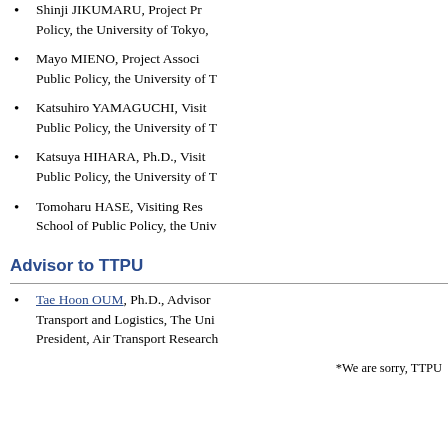Shinji JIKUMARU, Project Pr... Policy, the University of Tokyo,...
Mayo MIENO, Project Associ... Public Policy, the University of T...
Katsuhiro YAMAGUCHI, Visit... Public Policy, the University of T...
Katsuya HIHARA, Ph.D., Visit... Public Policy, the University of T...
Tomoharu HASE, Visiting Res... School of Public Policy, the Univ...
Advisor to TTPU
Tae Hoon OUM, Ph.D., Advisor... Transport and Logistics, The Uni... President, Air Transport Research...
*We are sorry, TTPU